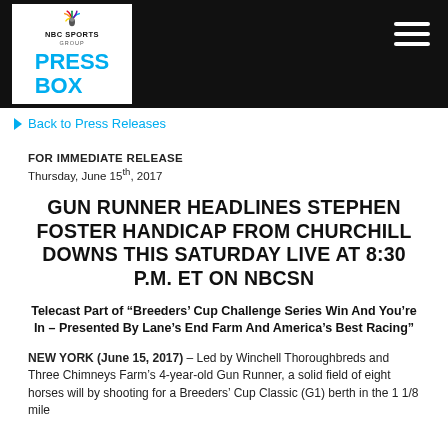NBC SPORTS GROUP PRESS BOX
Back to Press Releases
FOR IMMEDIATE RELEASE
Thursday, June 15th, 2017
GUN RUNNER HEADLINES STEPHEN FOSTER HANDICAP FROM CHURCHILL DOWNS THIS SATURDAY LIVE AT 8:30 P.M. ET ON NBCSN
Telecast Part of “Breeders’ Cup Challenge Series Win And You’re In – Presented By Lane’s End Farm And America’s Best Racing”
NEW YORK (June 15, 2017) – Led by Winchell Thoroughbreds and Three Chimneys Farm’s 4-year-old Gun Runner, a solid field of eight horses will by shooting for a Breeders’ Cup Classic (G1) berth in the 1 1/8 mile